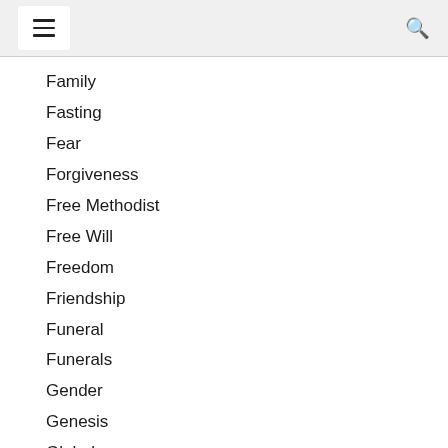☰ [search]
Family
Fasting
Fear
Forgiveness
Free Methodist
Free Will
Freedom
Friendship
Funeral
Funerals
Gender
Genesis
Global
Glory
God's Will